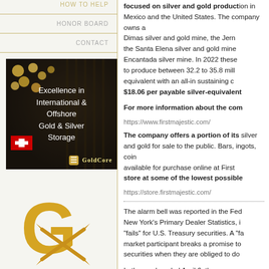HOW TO HELP
HONOR BOARD
CONTACT
[Figure (advertisement): GoldCore advertisement for Excellence in International & Offshore Gold & Silver Storage, featuring vault imagery, Swiss flag, and GoldCore logo.]
[Figure (logo): Large golden G logo with crossed pickaxes, representing a gold/mining company.]
focused on silver and gold production in Mexico and the United States. The company owns and operates the San Dimas silver and gold mine, the Jerritt Canyon gold mine, the Santa Elena silver and gold mine, and the La Encantada silver mine. In 2022 these mines are expected to produce between 32.2 to 35.8 million ounces silver equivalent with an all-in sustaining cost between $18.06 per payable silver-equivalent ounce.
For more information about the com
https://www.firstmajestic.com/
The company offers a portion of its silver and gold for sale to the public. Bars, ingots, coins, and rounds are available for purchase online at First Majestic's own store at some of the lowest possible prices.
https://store.firstmajestic.com/
The alarm bell was reported in the Federal Reserve Bank of New York's Primary Dealer Statistics, in a section called "fails" for U.S. Treasury securities. A "fail" occurs when a market participant breaks a promise to deliver Treasury securities when they are obliged to do so.
In the week ended April 6, there were a record number of fails reported by the primary dealers, and it stood at $2.7 billion in the previous week ended March 30, before falling back down again to $275 billion in the following week. This was far below the $5.3 trillion peak of fails during the October week in the 2008 financial cris